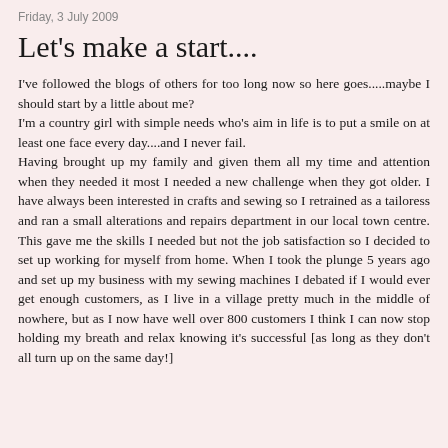Friday, 3 July 2009
Let's make a start....
I've followed the blogs of others for too long now so here goes.....maybe I should start by a little about me?
I'm a country girl with simple needs who's aim in life is to put a smile on at least one face every day....and I never fail.
Having brought up my family and given them all my time and attention when they needed it most I needed a new challenge when they got older. I have always been interested in crafts and sewing so I retrained as a tailoress and ran a small alterations and repairs department in our local town centre. This gave me the skills I needed but not the job satisfaction so I decided to set up working for myself from home. When I took the plunge 5 years ago and set up my business with my sewing machines I debated if I would ever get enough customers, as I live in a village pretty much in the middle of nowhere, but as I now have well over 800 customers I think I can now stop holding my breath and relax knowing it's successful [as long as they don't all turn up on the same day!]